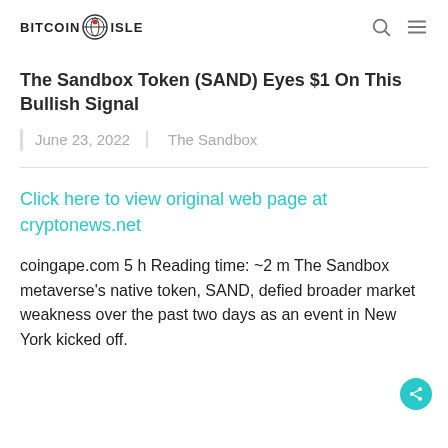BITCOIN ISLE
The Sandbox Token (SAND) Eyes $1 On This Bullish Signal
June 23, 2022 | The Sandbox
Click here to view original web page at cryptonews.net
coingape.com 5 h Reading time: ~2 m The Sandbox metaverse's native token, SAND, defied broader market weakness over the past two days as an event in New York kicked off.